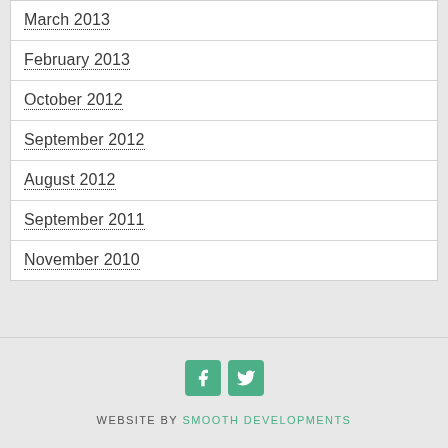March 2013
February 2013
October 2012
September 2012
August 2012
September 2011
November 2010
[Figure (other): Facebook and Twitter social media icons in green square buttons]
Website by Smooth Developments